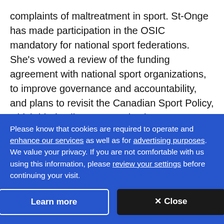complaints of maltreatment in sport. St-Onge has made participation in the OSIC mandatory for national sport federations. She's vowed a review of the funding agreement with national sport organizations, to improve governance and accountability, and plans to revisit the Canadian Sport Policy, which binds all sport organizations across Canada.
Both Reimer and Peel recommend St-Onge make the
Please know that cookies are required to operate and enhance our services as well as for advertising purposes. We value your privacy. If you are not comfortable with us using this information, please review your settings before continuing your visit.